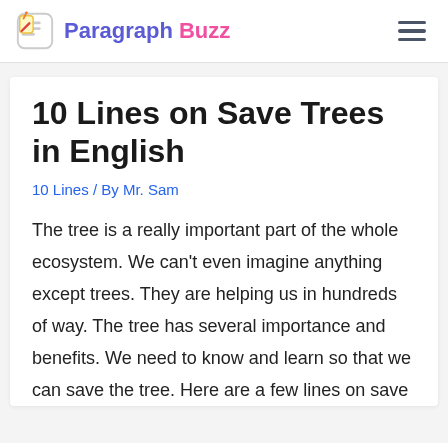Paragraph Buzz
10 Lines on Save Trees in English
10 Lines / By Mr. Sam
The tree is a really important part of the whole ecosystem. We can't even imagine anything except trees. They are helping us in hundreds of way. The tree has several importance and benefits. We need to know and learn so that we can save the tree. Here are a few lines on save